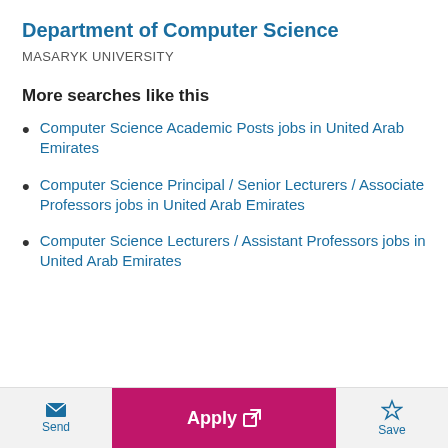Department of Computer Science
MASARYK UNIVERSITY
More searches like this
Computer Science Academic Posts jobs in United Arab Emirates
Computer Science Principal / Senior Lecturers / Associate Professors jobs in United Arab Emirates
Computer Science Lecturers / Assistant Professors jobs in United Arab Emirates
Send | Apply | Save